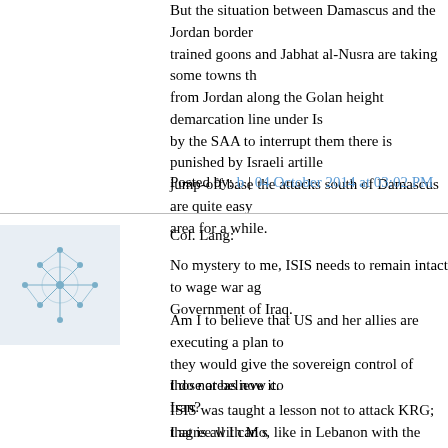But the situation between Damascus and the Jordan border... trained goons and Jabhat al-Nusra are taking some towns there from Jordan along the Golan height demarcation line under Is... by the SAA to interrupt them there is punished by Israeli artille... jump-off base the attacks south of Damascus are quite easy... area for a while.
Posted by: b | 04 October 2014 at 03:02 PM
[Figure (illustration): Small blue avatar/profile image with abstract network or snowflake-like pattern]
Col. Lang:
No mystery to me, ISIS needs to remain intact to wage war ag... Government of Iraq.
Am I to believe that US and her allies are executing a plan to... they would give the sovereign control of those areas now co... Iran?
I do not believe it.
ISIS was taught a lesson not to attack KRG; that is all I can s...
I agree with Mo, like in Lebanon with the Sunnis and their Jih...
Posted by: Babak Makkinejad | 04 October 2014 at 03:16 PM